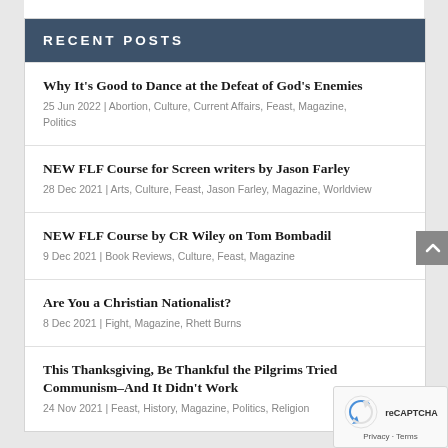RECENT POSTS
Why It's Good to Dance at the Defeat of God's Enemies
25 Jun 2022 | Abortion, Culture, Current Affairs, Feast, Magazine, Politics
NEW FLF Course for Screen writers by Jason Farley
28 Dec 2021 | Arts, Culture, Feast, Jason Farley, Magazine, Worldview
NEW FLF Course by CR Wiley on Tom Bombadil
9 Dec 2021 | Book Reviews, Culture, Feast, Magazine
Are You a Christian Nationalist?
8 Dec 2021 | Fight, Magazine, Rhett Burns
This Thanksgiving, Be Thankful the Pilgrims Tried Communism–And It Didn't Work
24 Nov 2021 | Feast, History, Magazine, Politics, Religion